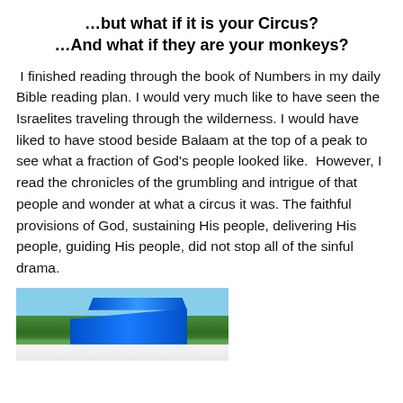…but what if it is your Circus?
…And what if they are your monkeys?
I finished reading through the book of Numbers in my daily Bible reading plan. I would very much like to have seen the Israelites traveling through the wilderness. I would have liked to have stood beside Balaam at the top of a peak to see what a fraction of God's people looked like.  However, I read the chronicles of the grumbling and intrigue of that people and wonder at what a circus it was. The faithful provisions of God, sustaining His people, delivering His people, guiding His people, did not stop all of the sinful drama.
[Figure (photo): Outdoor photo showing a blue water slide structure with trees in the background and a blue sky with clouds.]